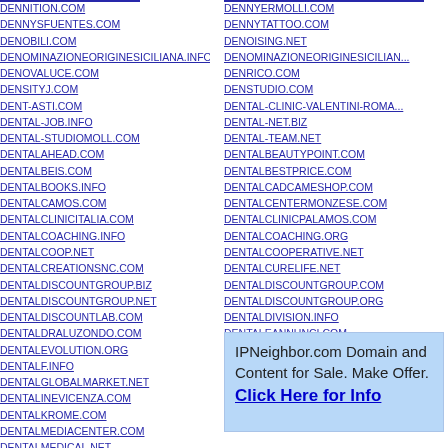DENNITION.COM
DENNYSFUENTES.COM
DENOBILI.COM
DENOMINAZIONEORIGINESICILIANA.INFO
DENOVALUCE.COM
DENSITYJ.COM
DENT-ASTI.COM
DENTAL-JOB.INFO
DENTAL-STUDIOMOLL.COM
DENTALAHEAD.COM
DENTALBEIS.COM
DENTALBOOKS.INFO
DENTALCAMOS.COM
DENTALCLINICITALIA.COM
DENTALCOACHING.INFO
DENTALCOOP.NET
DENTALCREATIONSNC.COM
DENTALDISCOUNTGROUP.BIZ
DENTALDISCOUNTGROUP.NET
DENTALDISCOUNTLAB.COM
DENTALDRALUZONDO.COM
DENTALEVOLUTION.ORG
DENTALF.INFO
DENTALGLOBALMARKET.NET
DENTALINEVICENZA.COM
DENTALKROME.COM
DENTALMEDIACENTER.COM
DENTALMEDICAL.NET
DENNYERMOLLI.COM
DENNYTATTOO.COM
DENOISING.NET
DENOMINAZIONEORIGINESICILIANA...
DENRICO.COM
DENSTUDIO.COM
DENTAL-CLINIC-VALENTINI-ROMA...
DENTAL-NET.BIZ
DENTAL-TEAM.NET
DENTALBEAUTYPOINT.COM
DENTALBESTPRICE.COM
DENTALCADCAMESHOP.COM
DENTALCENTERMONZESE.COM
DENTALCLINICPALAMOS.COM
DENTALCOACHING.ORG
DENTALCOOPERATIVE.NET
DENTALCURELIFE.NET
DENTALDISCOUNTGROUP.COM
DENTALDISCOUNTGROUP.ORG
DENTALDIVISION.INFO
DENTALEANNUNCI.COM
DENTALEXPERT.ORG
DENTALFAD.COM
IPNeighbor.com Domain and Content for Sale. Make Offer. Click Here for Info